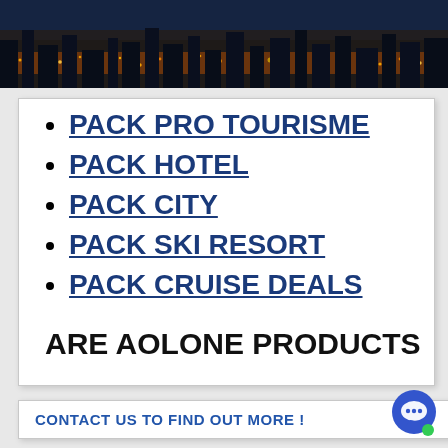[Figure (photo): Aerial night city view photo banner with city lights]
PACK PRO TOURISME
PACK HOTEL
PACK CITY
PACK SKI RESORT
PACK CRUISE DEALS
ARE AOLONE PRODUCTS
CONTACT US TO FIND OUT MORE !